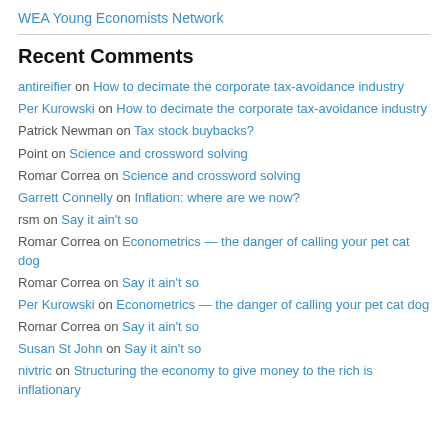WEA Young Economists Network
Recent Comments
antireifier on How to decimate the corporate tax-avoidance industry
Per Kurowski on How to decimate the corporate tax-avoidance industry
Patrick Newman on Tax stock buybacks?
Point on Science and crossword solving
Romar Correa on Science and crossword solving
Garrett Connelly on Inflation: where are we now?
rsm on Say it ain't so
Romar Correa on Econometrics — the danger of calling your pet cat dog
Romar Correa on Say it ain't so
Per Kurowski on Econometrics — the danger of calling your pet cat dog
Romar Correa on Say it ain't so
Susan St John on Say it ain't so
nivtric on Structuring the economy to give money to the rich is inflationary